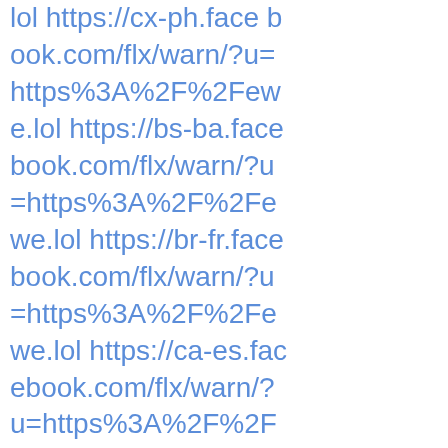lol https://cx-ph.facebook.com/flx/warn/?u=https%3A%2F%2Fewe.lol https://bs-ba.facebook.com/flx/warn/?u=https%3A%2F%2Fewe.lol https://br-fr.facebook.com/flx/warn/?u=https%3A%2F%2Fewe.lol https://ca-es.facebook.com/flx/warn/?u=https%3A%2F%2Fewe.lol https://co-fr.facebook.com/flx/warn/?u=https%3A%2F%2Fewe.lol https://cy-gb.facebook.com/flx/warn/?u=https%3A%2F%2Fewe.lol https://da-dk.facebook.com/flx/warn/?u=https%3A%2F%2Fewe.lol https://de-de.facebook.com/flx/warn/?u=https%3A%2F%2Fewe.lol https://et-ee.facebook.com/flx/warn/?u=https%3A%2